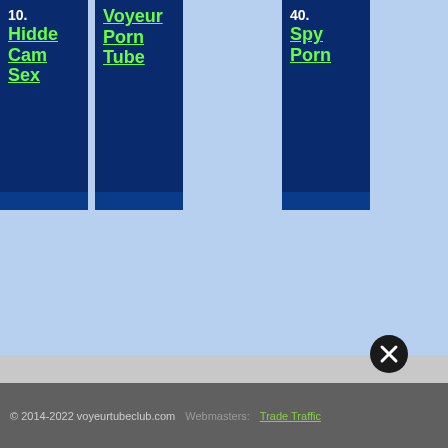10. Hidden Cam Sex
Voyeur Porn Tube
40. Spy Porn
[Figure (screenshot): Close button (X) circle icon]
© 2014-2022 voyeurtubeclub.com   Webmasters:   Trade Traffic